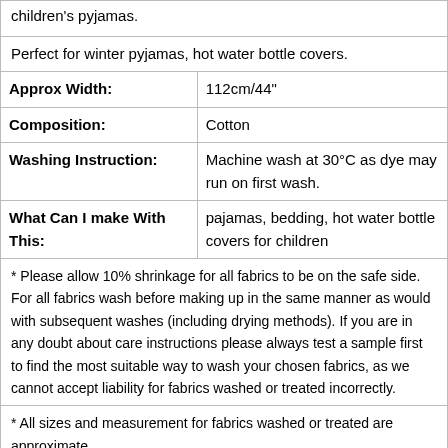children's pyjamas.
Perfect for winter pyjamas, hot water bottle covers.
| Approx Width: | 112cm/44" |
| Composition: | Cotton |
| Washing Instruction: | Machine wash at 30°C as dye may run on first wash. |
| What Can I make With This: | pajamas, bedding, hot water bottle covers for children |
* Please allow 10% shrinkage for all fabrics to be on the safe side. For all fabrics wash before making up in the same manner as would with subsequent washes (including drying methods). If you are in any doubt about care instructions please always test a sample first to find the most suitable way to wash your chosen fabrics, as we cannot accept liability for fabrics washed or treated incorrectly.
* All sizes and measurement for fabrics washed or treated are approximate.